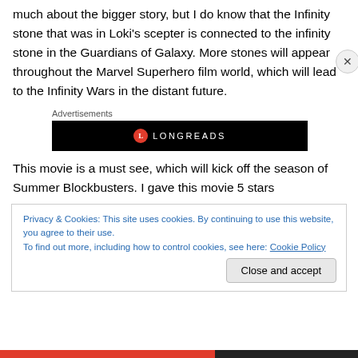much about the bigger story, but I do know that the Infinity stone that was in Loki's scepter is connected to the infinity stone in the Guardians of Galaxy. More stones will appear throughout the Marvel Superhero film world, which will lead to the Infinity Wars in the distant future.
[Figure (other): Longreads advertisement banner — black background with Longreads logo (red circle with L) and LONGREADS text in white]
This movie is a must see, which will kick off the season of Summer Blockbusters. I gave this movie 5 stars
Privacy & Cookies: This site uses cookies. By continuing to use this website, you agree to their use.
To find out more, including how to control cookies, see here: Cookie Policy